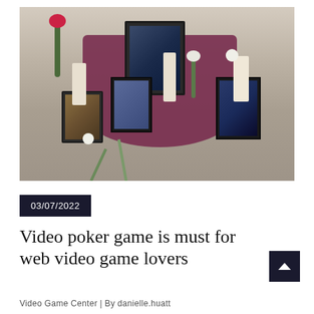[Figure (photo): Outdoor memorial shrine on a sidewalk with a purple cloth-covered table, framed artwork depicting video game characters, candles, and flowers including white carnations and red flowers scattered around the setup.]
03/07/2022
Video poker game is must for web video game lovers
Video Game Center | By danielle.huatt